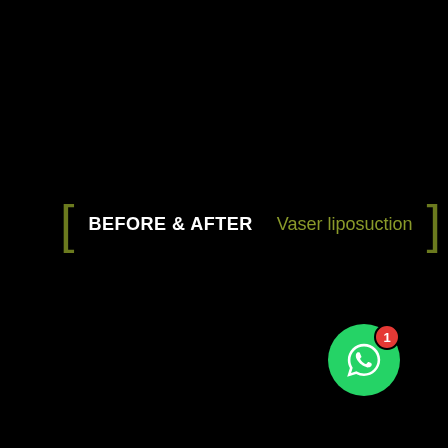[ BEFORE & AFTER   Vaser liposuction ]
[Figure (illustration): WhatsApp contact button — green circle with white WhatsApp phone/chat icon, red notification badge showing '1' in upper right]